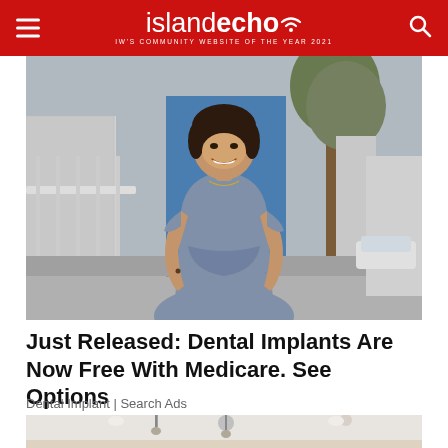islandecho — IW's COMMUNITY WEBSITE OF THE YEAR 2021
[Figure (photo): A smiling woman in a grey fitted dress standing outdoors on a street with trees and buildings in the background]
Just Released: Dental Implants Are Now Free With Medicare. See Options
Dental Implant | Search Ads
[Figure (photo): Interior room with white walls, recessed lighting, and pendant lights visible at the bottom of the frame]